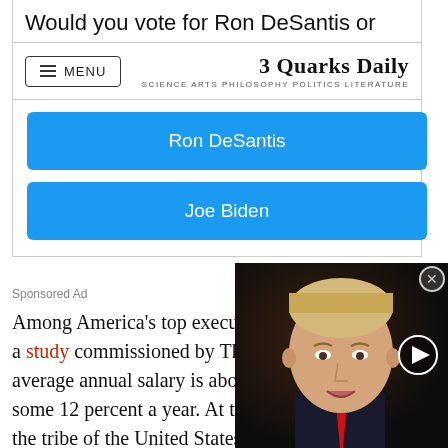Would you vote for Ron DeSantis or
3 Quarks Daily — SCIENCE ARTS PHILOSOPHY POLITICS LITERATURE
[Figure (other): Poll with two blue buttons: 'Ron DeSantis' and 'Joe Biden']
Sponsored Ad
Among America's top executives today, according to a study commissioned by The New York Times, the average annual salary is about $10 million and rising some 12 percent a year. At th… the tribe of the United States… with miserably high unempl… and the worst economic crisi… Depression. Now, maybe the
[Figure (photo): Video overlay showing a man in a dark suit with a red tie, with a play button circle on the right side and a close (X) button in the top right corner.]